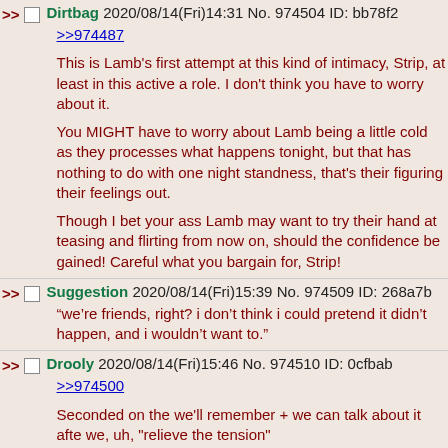>> Dirtbag 2020/08/14(Fri)14:31 No. 974504 ID: bb78f2
>>974487
This is Lamb's first attempt at this kind of intimacy, Strip, at least in this active a role. I don't think you have to worry about it.

You MIGHT have to worry about Lamb being a little cold as they processes what happens tonight, but that has nothing to do with one night standness, that's their figuring their feelings out.

Though I bet your ass Lamb may want to try their hand at teasing and flirting from now on, should the confidence be gained! Careful what you bargain for, Strip!
>> Suggestion 2020/08/14(Fri)15:39 No. 974509 ID: 268a7b
“we’re friends, right? i don’t think i could pretend it didn’t happen, and i wouldn’t want to.”
>> Drooly 2020/08/14(Fri)15:46 No. 974510 ID: 0cfbab
>>974500
Seconded on the we'll remember + we can talk about it afte we, uh, "relieve the tension"